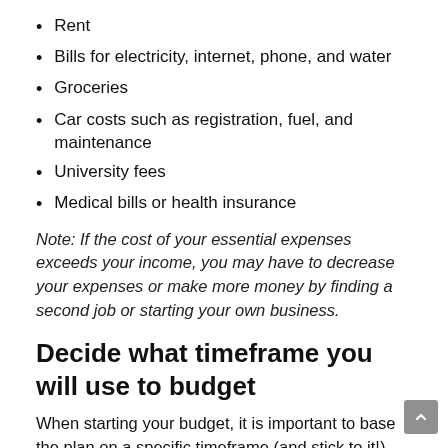Rent
Bills for electricity, internet, phone, and water
Groceries
Car costs such as registration, fuel, and maintenance
University fees
Medical bills or health insurance
Note: If the cost of your essential expenses exceeds your income, you may have to decrease your expenses or make more money by finding a second job or starting your own business.
Decide what timeframe you will use to budget
When starting your budget, it is important to base the plan on a specific timeframe (and stick to it!).